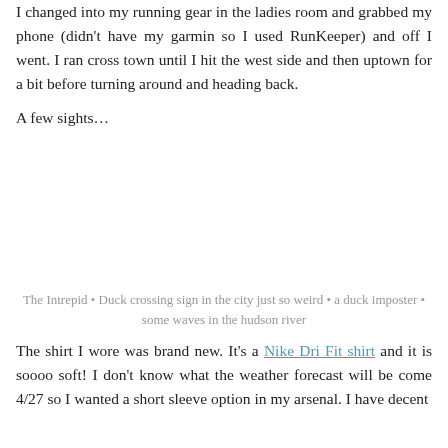I changed into my running gear in the ladies room and grabbed my phone (didn't have my garmin so I used RunKeeper) and off I went. I ran cross town until I hit the west side and then uptown for a bit before turning around and heading back.
A few sights…
[Figure (photo): Blank/white image area representing photos of The Intrepid, a duck crossing sign, a duck imposter, and some waves in the hudson river]
The Intrepid • Duck crossing sign in the city just so weird • a duck imposter • some waves in the hudson river
The shirt I wore was brand new. It's a Nike Dri Fit shirt and it is soooo soft! I don't know what the weather forecast will be come 4/27 so I wanted a short sleeve option in my arsenal. I have decent